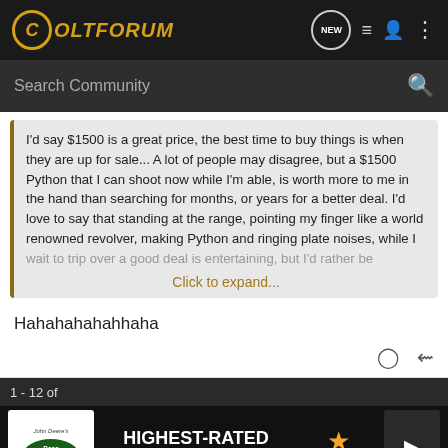ColtForum
Search Community
I'd say $1500 is a great price, the best time to buy things is when they are up for sale... A lot of people may disagree, but a $1500 Python that I can shoot now while I'm able, is worth more to me in the hand than searching for months, or years for a better deal. I'd love to say that standing at the range, pointing my finger like a world renowned revolver, making Python and ringing plate noises, while I wait to trip over a good deal is entertaining, but I'd rather be
Click to expand...
Hahahahahahhaha
1 - 12 of
HIGHEST-RATED GEAR
4.9
This is a ... ould be